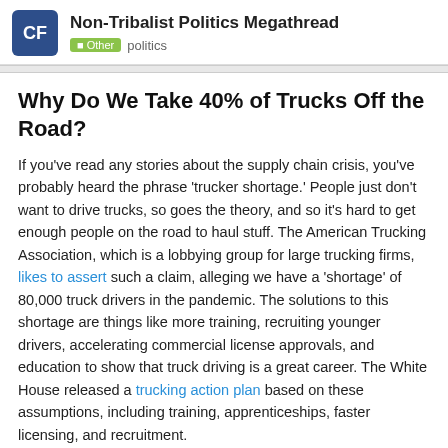Non-Tribalist Politics Megathread | Other politics
Why Do We Take 40% of Trucks Off the Road?
If you've read any stories about the supply chain crisis, you've probably heard the phrase 'trucker shortage.' People just don't want to drive trucks, so goes the theory, and so it's hard to get enough people on the road to haul stuff. The American Trucking Association, which is a lobbying group for large trucking firms, likes to assert such a claim, alleging we have a 'shortage' of 80,000 truck drivers in the pandemic. The solutions to this shortage are things like more training, recruiting younger drivers, accelerating commercial license approvals, and education to show that truck driving is a great career. The White House released a trucking action plan based on these assumptions, including training, apprenticeships, faster licensing, and recruitment.
But what if we could wave a magic wand and increase the number of experienced, competent truc
2 / 132